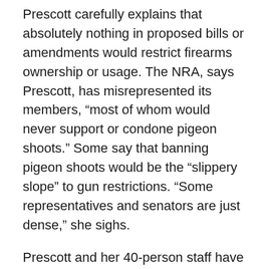Prescott carefully explains that absolutely nothing in proposed bills or amendments would restrict firearms ownership or usage. The NRA, says Prescott, has misrepresented its members, “most of whom would never support or condone pigeon shoots.” Some say that banning pigeon shoots would be the “slippery slope” to gun restrictions. “Some representatives and senators are just dense,” she sighs.
Prescott and her 40-person staff have been at the forefront of animal rights, persuading numerous designers and retail chains to stop selling fur, convincing all states to stop cock fighting, pushing 10 states to either ban or modify rules on puppy mills, and exposing animal cruelty in the cattle industry and the secret world of dog fighting. Normally, Prescott wouldn’t be “working” the Pennsylvania legislature, but she has taken a personal interest in